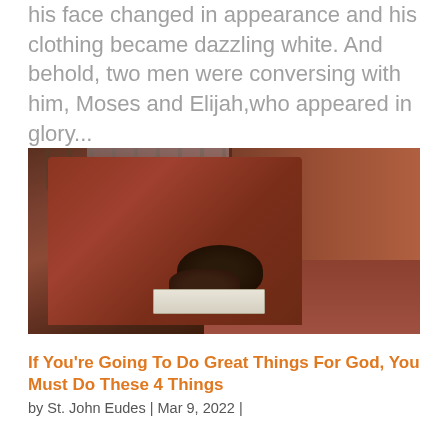his face changed in appearance and his clothing became dazzling white. And behold, two men were conversing with him, Moses and Elijah,who appeared in glory...
[Figure (photo): A person bowing their head down in prayer on a church pew bench, wearing a rust-red/orange top, with a Bible placed on the pew beside them. The church interior shows wooden pews with brown/orange upholstery in the background.]
If You're Going To Do Great Things For God, You Must Do These 4 Things
by St. John Eudes | Mar 9, 2022 |